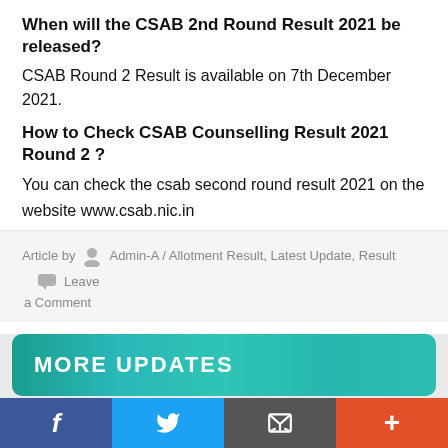When will the CSAB 2nd Round Result 2021 be released?
CSAB Round 2 Result is available on 7th December 2021.
How to Check CSAB Counselling Result 2021 Round 2 ?
You can check the csab second round result 2021 on the website www.csab.nic.in
Article by  Admin-A / Allotment Result, Latest Update, Result  Leave a Comment
MORE UPDATES
Indian Army Agniveer Apply Online 2022 Recruitment अग्निवीर भर्ती Registration Rally Date
f  t  [email icon]  +